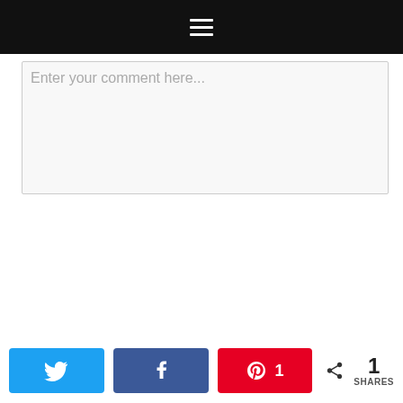[Figure (screenshot): Black navigation top bar with white hamburger menu icon (three horizontal lines)]
Enter your comment here...
[Figure (screenshot): Bottom social sharing bar with Twitter button (blue), Facebook button (dark blue), Pinterest button (red) showing count 1, and a share icon with SHARES label]